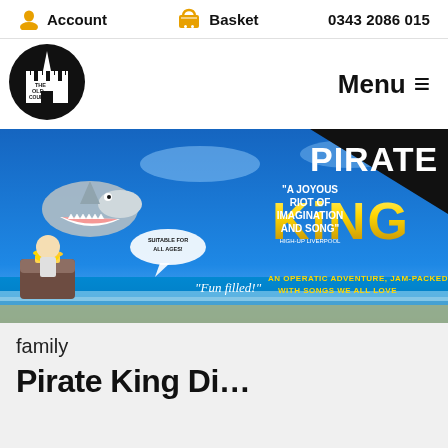Account   Basket   0343 2086 015
[Figure (logo): The Old Courts logo — circular black badge with white castle silhouette and text THE OLD COURTS]
Menu ≡
[Figure (photo): Pirate King show promotional banner. Blue ocean background with inflatable shark, treasure chest with gold coins, pirate figure. Text: 'A JOYOUS RIOT OF IMAGINATION AND SONG' — HIGH-UP LIVERPOOL. 'Suitable for all ages' speech bubble. 'Fun filled!' quote. PIRATE KING in large gold and white letters. 'AN OPERATIC ADVENTURE, JAM-PACKED WITH SONGS WE ALL LOVE']
family
Pirate King Di…